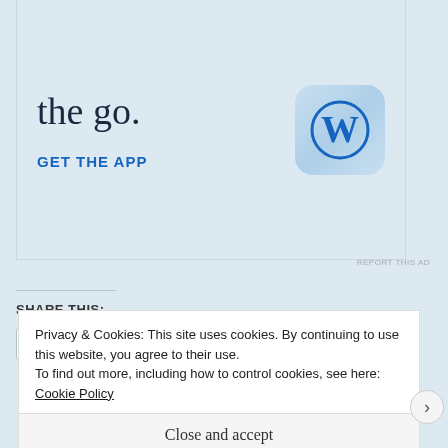[Figure (screenshot): WordPress app advertisement banner showing 'the go.' headline text, 'GET THE APP' link in blue, and WordPress 'W' icon logo in a rounded square]
REPORT THIS AD
SHARE THIS:
Twitter (button)
Facebook (button)
Loading...
Privacy & Cookies: This site uses cookies. By continuing to use this website, you agree to their use.
To find out more, including how to control cookies, see here: Cookie Policy
Close and accept